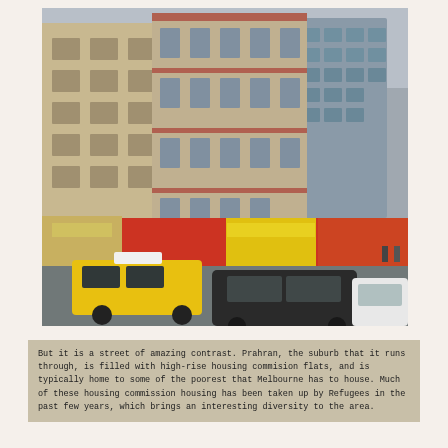[Figure (photo): Street-level photograph of a busy urban intersection in Melbourne showing multi-storey heritage and modern buildings, yellow taxi cab and other vehicles in the foreground, retail shops with colourful signage at street level, and pedestrians.]
But it is a street of amazing contrast. Prahran, the suburb that it runs through, is filled with high-rise housing commision flats, and is typically home to some of the poorest that Melbourne has to house. Much of these housing commission housing has been taken up by Refugees in the past few years, which brings an interesting diversity to the area.